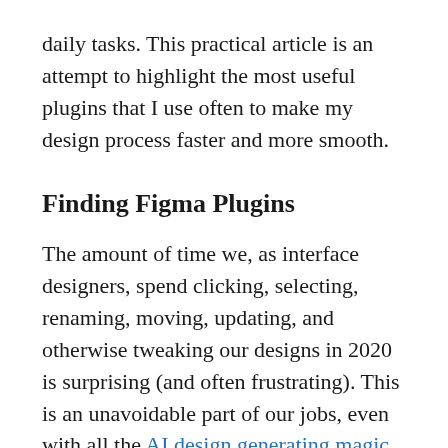daily tasks. This practical article is an attempt to highlight the most useful plugins that I use often to make my design process faster and more smooth.
Finding Figma Plugins
The amount of time we, as interface designers, spend clicking, selecting, renaming, moving, updating, and otherwise tweaking our designs in 2020 is surprising (and often frustrating). This is an unavoidable part of our jobs, even with all the AI design generating magic available today. However, any minutes or hours that we are able to save on moving pixels can be spent improving the design quality, growing as designers, or